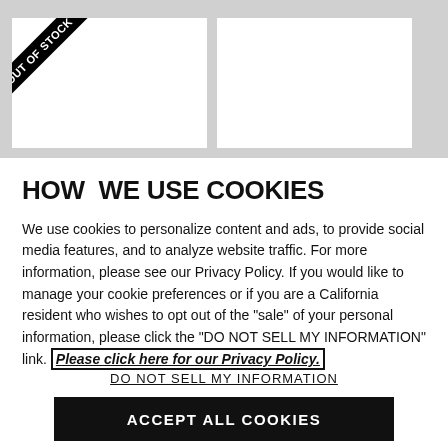[Figure (other): Two white product image boxes side by side on a grey background; the left box has a black diagonal 'OUT OF STOCK' ribbon in the upper-left corner.]
HOW WE USE COOKIES
We use cookies to personalize content and ads, to provide social media features, and to analyze website traffic. For more information, please see our Privacy Policy. If you would like to manage your cookie preferences or if you are a California resident who wishes to opt out of the "sale" of your personal information, please click the "DO NOT SELL MY INFORMATION" link. Please click here for our Privacy Policy.
DO NOT SELL MY INFORMATION
ACCEPT ALL COOKIES